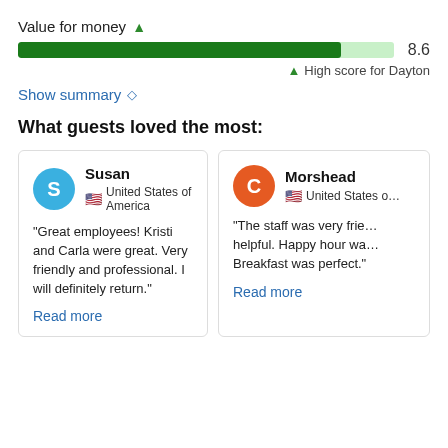Value for money ↑
[Figure (other): Horizontal progress bar showing score 8.6 out of 10, approximately 86% filled in dark green]
8.6
↑ High score for Dayton
Show summary ◇
What guests loved the most:
Susan
United States of America
"Great employees! Kristi and Carla were great. Very friendly and professional. I will definitely return."
Read more
Morshead
United States of …
"The staff was very frie… helpful. Happy hour wa… Breakfast was perfect."
Read more